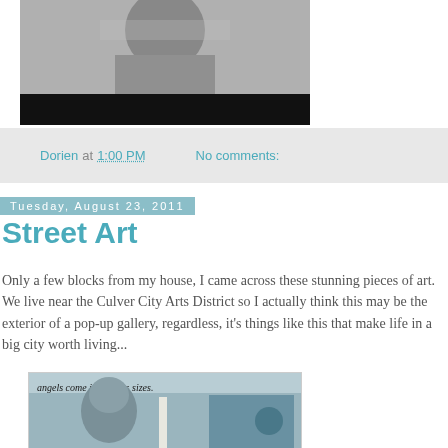[Figure (photo): Black and white photo of a woman in dark clothing, cropped at shoulders. Bottom portion is a black bar.]
Dorien at 1:00 PM   No comments:
Tuesday, August 23, 2011
Street Art
Only a few blocks from my house, I came across these stunning pieces of art. We live near the Culver City Arts District so I actually think this may be the exterior of a pop-up gallery, regardless, it's things like this that make life in a big city worth living...
[Figure (photo): Street art mural on a building wall. Text reads 'angels come in various sizes.' Features a painted figure wearing a helmet, with blue tinted windows visible behind. Blue circular element on the right.]